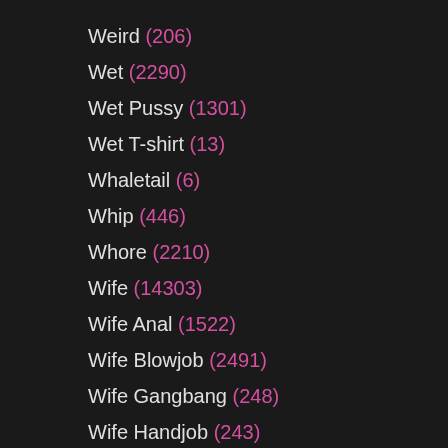Weird (206)
Wet (2290)
Wet Pussy (1301)
Wet T-shirt (13)
Whaletail (6)
Whip (446)
Whore (2210)
Wife (14303)
Wife Anal (1522)
Wife Blowjob (2491)
Wife Gangbang (248)
Wife Handjob (243)
Wife Homemade (1249)
Wife Interracial (1787)
Wife Swap (46)